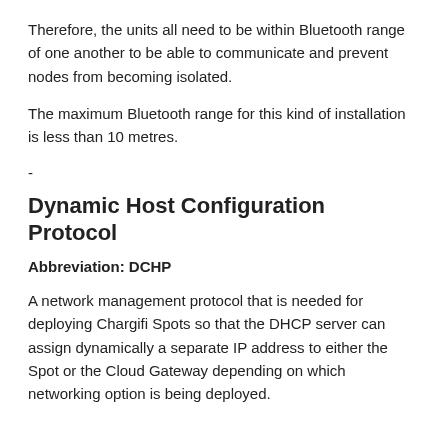Therefore, the units all need to be within Bluetooth range of one another to be able to communicate and prevent nodes from becoming isolated.
The maximum Bluetooth range for this kind of installation is less than 10 metres.
-
Dynamic Host Configuration Protocol
Abbreviation: DCHP
A network management protocol that is needed for deploying Chargifi Spots so that the DHCP server can assign dynamically a separate IP address to either the Spot or the Cloud Gateway depending on which networking option is being deployed.